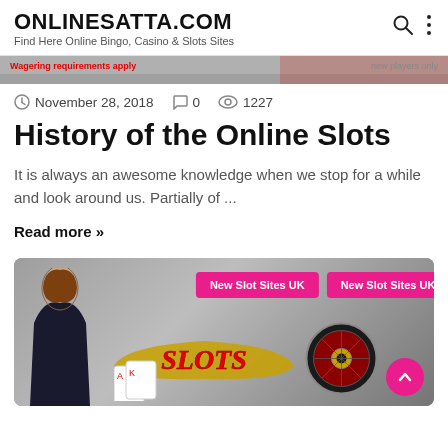ONLINESATTA.COM
Find Here Online Bingo, Casino & Slots Sites
[Figure (photo): Banner image with wagering requirements text overlay]
November 28, 2018  0  1227
History of the Online Slots
It is always an awesome knowledge when we stop for a while and look around us. Partially of ...
Read more »
[Figure (photo): Casino promotional banner with New Slot Sites UK buttons, SLOTS text, woman in black dress, roulette wheel, playing cards and casino chips]